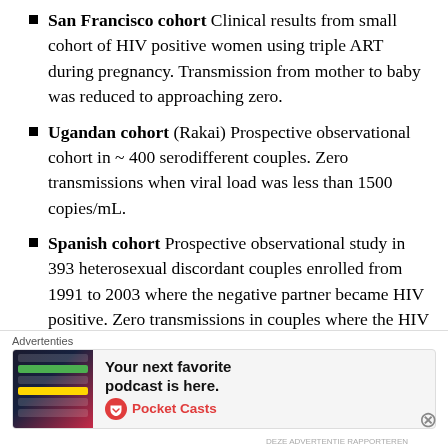San Francisco cohort Clinical results from small cohort of HIV positive women using triple ART during pregnancy. Transmission from mother to baby was reduced to approaching zero.
Ugandan cohort (Rakai) Prospective observational cohort in ~ 400 serodifferent couples. Zero transmissions when viral load was less than 1500 copies/mL.
Spanish cohort Prospective observational study in 393 heterosexual discordant couples enrolled from 1991 to 2003 where the negative partner became HIV positive. Zero transmissions in couples where the HIV positive partner was on ART with undetectable viral load.
Advertenties
[Figure (infographic): Advertisement for Pocket Casts podcast app with text 'Your next favorite podcast is here.' and Pocket Casts logo]